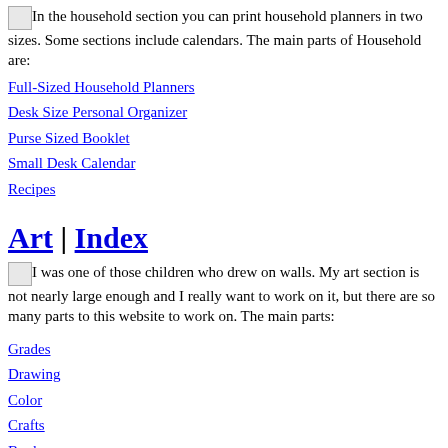[Household icon] In the household section you can print household planners in two sizes. Some sections include calendars. The main parts of Household are:
Full-Sized Household Planners
Desk Size Personal Organizer
Purse Sized Booklet
Small Desk Calendar
Recipes
Art | Index
[Visual Art icon] I was one of those children who drew on walls. My art section is not nearly large enough and I really want to work on it, but there are so many parts to this website to work on. The main parts:
Grades
Drawing
Color
Crafts
Books